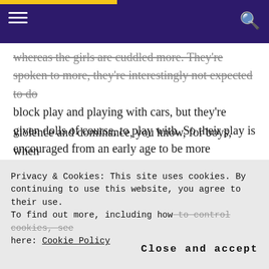[Navigation bar with hamburger menu and search icon]
whereas the girls are cuddled more. They're spoken to more, they're interestingly not expected to do block play and playing with cars, but they're given dolls of course, to play with. So their play is encouraged from an early age to be more relational and interactive and caring for others and being mindful of others feelings, things like that.
So you know, this, this is where this work starts from very early childhood and us being mindful of the assumptions and expectations we have, you know
Privacy & Cookies: This site uses cookies. By continuing to use this website, you agree to their use. To find out more, including how to control cookies, see here: Cookie Policy
violence and dominance, you know, for boys, when